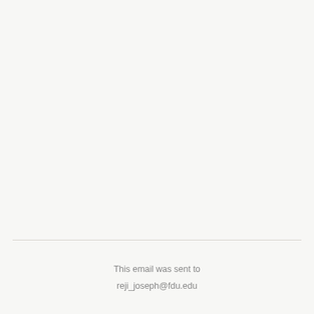This email was sent to

reji_joseph@fdu.edu